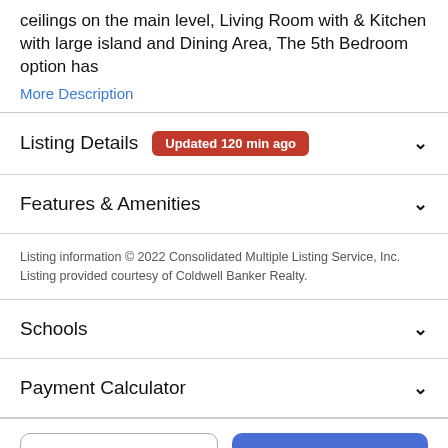ceilings on the main level, Living Room with & Kitchen with large island and Dining Area, The 5th Bedroom option has
More Description
Listing Details  Updated 120 min ago
Features & Amenities
Listing information © 2022 Consolidated Multiple Listing Service, Inc. Listing provided courtesy of Coldwell Banker Realty.
Schools
Payment Calculator
Take a Tour  |  Ask A Question